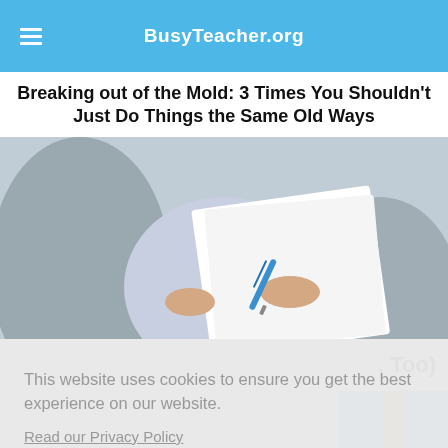BusyTeacher.org
Breaking out of the Mold: 3 Times You Shouldn't Just Do Things the Same Old Ways
[Figure (photo): Close-up photo of a person in a grey blazer holding papers and writing with a pen, viewed from the side]
, Too)
This website uses cookies to ensure you get the best experience on our website.
Read our Privacy Policy
Accept!
[Figure (photo): Partial image of a pencil tip against a blue background]